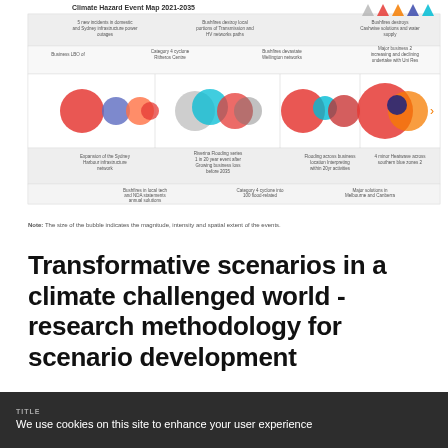[Figure (infographic): Climate Hazard Event Map 2021-2035 showing four time period columns with overlapping colored circles representing hazard events of varying magnitude, intensity and spatial extent. Legend icons at top right show different hazard categories. Each column has text labels above and below describing specific climate scenarios and business impacts.]
Note: The size of the bubble indicates the magnitude, intensity and spatial extent of the events.
Transformative scenarios in a climate challenged world - research methodology for scenario development
We use cookies on this site to enhance your user experience